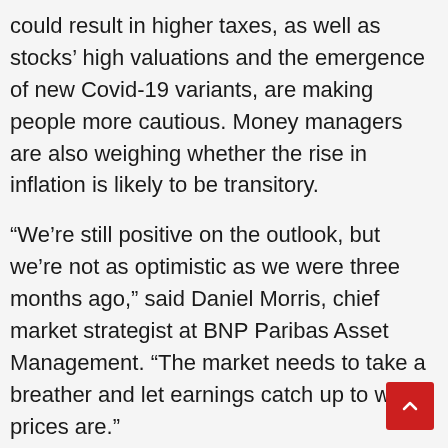could result in higher taxes, as well as stocks' high valuations and the emergence of new Covid-19 variants, are making people more cautious. Money managers are also weighing whether the rise in inflation is likely to be transitory.
“We’re still positive on the outlook, but we’re not as optimistic as we were three months ago,” said Daniel Morris, chief market strategist at BNP Paribas Asset Management. “The market needs to take a breather and let earnings catch up to where prices are.”
Meme stocks have continued to record sharp swings even as the broader markets have been calmer.